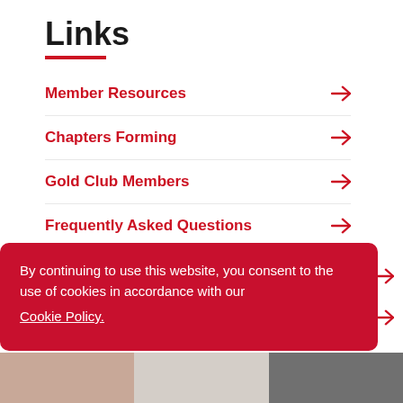Links
Member Resources →
Chapters Forming →
Gold Club Members →
Frequently Asked Questions →
Power of One Report →
By continuing to use this website, you consent to the use of cookies in accordance with our Cookie Policy.
I understand